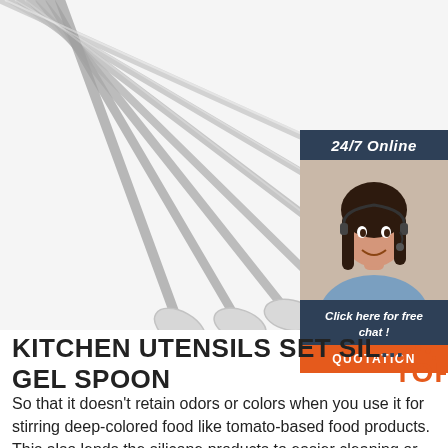[Figure (photo): Overhead photo of stainless steel cutlery/spoons fanned out on white background]
[Figure (photo): Sidebar widget with '24/7 Online' header in dark blue, photo of smiling woman with headset, 'Click here for free chat!' text, and orange QUOTATION button]
KITCHEN UTENSILS SET SIL... GEL SPOON
So that it doesn't retain odors or colors when you use it for stirring deep-colored food like tomato-based food products. This also lends the silicone products to easier cleaning or washing. Package